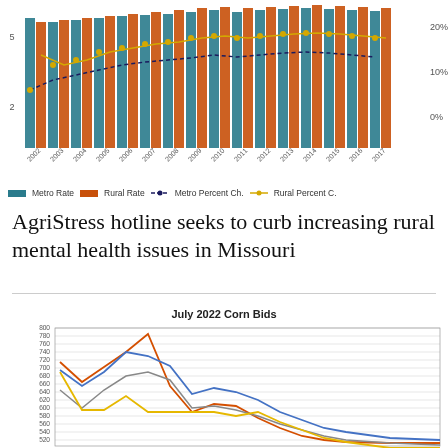[Figure (grouped-bar-chart): Grouped bar chart showing Metro Rate and Rural Rate bars with Metro Percent Change and Rural Percent Change line overlays, years approximately 2002-2017. Partially cropped at top.]
Metro Rate    Rural Rate    — Metro Percent Ch.    Rural Percent C.
AgriStress hotline seeks to curb increasing rural mental health issues in Missouri
[Figure (line-chart): Line chart showing multiple series (blue, orange, gray, yellow) of corn bid prices over time in July 2022. Y-axis shows price values. Multiple lines trending generally downward over the period shown, with the orange line peaking highest early then declining sharply.]